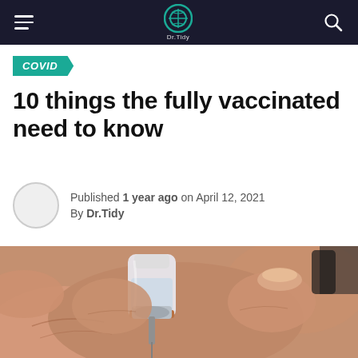Dr.Tidy navigation bar with hamburger menu, logo, and search icon
COVID
10 things the fully vaccinated need to know
Published 1 year ago on April 12, 2021
By Dr.Tidy
[Figure (photo): Close-up photograph of hands holding a vaccine vial while inserting a syringe needle into it]